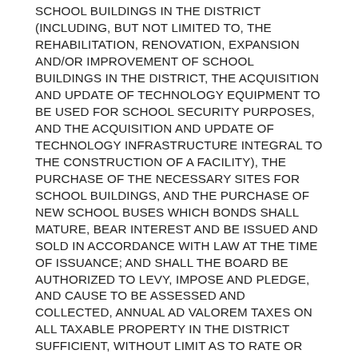SCHOOL BUILDINGS IN THE DISTRICT (INCLUDING, BUT NOT LIMITED TO, THE REHABILITATION, RENOVATION, EXPANSION AND/OR IMPROVEMENT OF SCHOOL BUILDINGS IN THE DISTRICT, THE ACQUISITION AND UPDATE OF TECHNOLOGY EQUIPMENT TO BE USED FOR SCHOOL SECURITY PURPOSES, AND THE ACQUISITION AND UPDATE OF TECHNOLOGY INFRASTRUCTURE INTEGRAL TO THE CONSTRUCTION OF A FACILITY), THE PURCHASE OF THE NECESSARY SITES FOR SCHOOL BUILDINGS, AND THE PURCHASE OF NEW SCHOOL BUSES WHICH BONDS SHALL MATURE, BEAR INTEREST AND BE ISSUED AND SOLD IN ACCORDANCE WITH LAW AT THE TIME OF ISSUANCE; AND SHALL THE BOARD BE AUTHORIZED TO LEVY, IMPOSE AND PLEDGE, AND CAUSE TO BE ASSESSED AND COLLECTED, ANNUAL AD VALOREM TAXES ON ALL TAXABLE PROPERTY IN THE DISTRICT SUFFICIENT, WITHOUT LIMIT AS TO RATE OR AMOUNT, TO PAY THE PRINCIPAL OF AND INTEREST ON THE BONDS, AND THE COSTS OF ANY CREDIT AGREEMENTS (INCLUDING CREDIT AGREEMENTS EXECUTED OR AUTHORIZED IN ANTICIPATION OF, IN RELATION TO, OR IN CONNECTION WITH THE BONDS), ALL AS AUTHORIZED BY